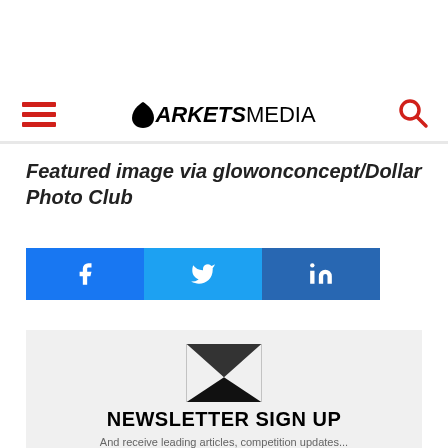ARKETSMEDIA (Markets Media logo with hamburger menu and search icon)
Featured image via glowonconcept/Dollar Photo Club
[Figure (infographic): Social share buttons: Facebook (f icon), Twitter (bird icon), LinkedIn (in icon) in blue color blocks]
[Figure (infographic): Newsletter sign up section with envelope icon and title NEWSLETTER SIGN UP]
NEWSLETTER SIGN UP